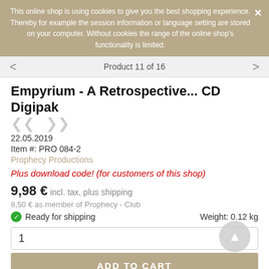This online shop is using cookies to give you the best shopping experience. Thereby for example the session information or language setting are stored on your computer. Without cookies the range of the online shop's functionality is limited.
Product 11 of 16
Empyrium - A Retrospective... CD Digipak
22.05.2019
Item #: PRO 084-2
Prophecy Productions
Plus download code! (for customers of this shop)
9,98 € incl. tax, plus shipping
8,50 € as member of Prophecy - Club
Ready for shipping
Weight: 0.12 kg
1
ADD TO CART